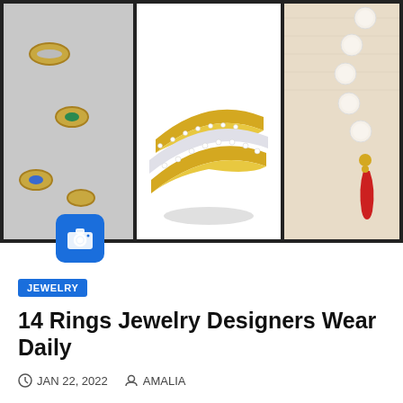[Figure (photo): Three jewelry photos side by side: left shows small decorative rings/studs on gray surface, center shows an intertwined gold and diamond ring on white background, right shows pearl bracelet with red charm on cream fabric]
JEWELRY
14 Rings Jewelry Designers Wear Daily
JAN 22, 2022  AMALIA
...